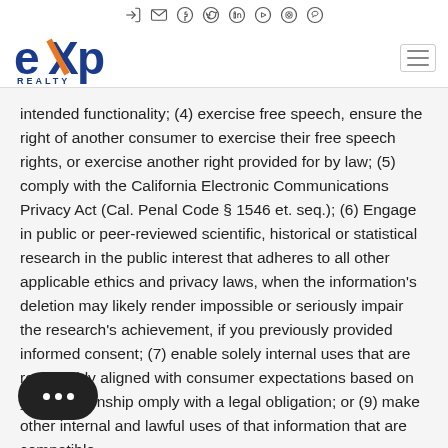eXp Realty header with navigation icons and logo
intended functionality; (4) exercise free speech, ensure the right of another consumer to exercise their free speech rights, or exercise another right provided for by law; (5) comply with the California Electronic Communications Privacy Act (Cal. Penal Code § 1546 et. seq.); (6) Engage in public or peer-reviewed scientific, historical or statistical research in the public interest that adheres to all other applicable ethics and privacy laws, when the information's deletion may likely render impossible or seriously impair the research's achievement, if you previously provided informed consent; (7) enable solely internal uses that are reasonably aligned with consumer expectations based on your relationship omply with a legal obligation; or (9) make other internal and lawful uses of that information that are compatible